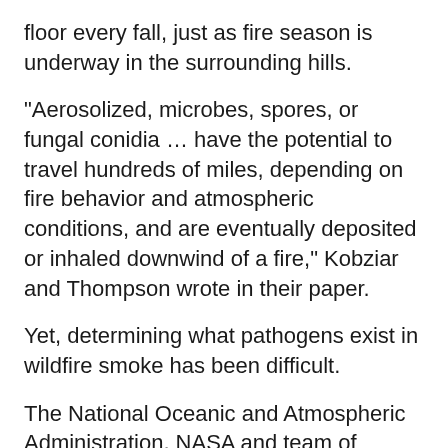floor every fall, just as fire season is underway in the surrounding hills.
"Aerosolized, microbes, spores, or fungal conidia … have the potential to travel hundreds of miles, depending on fire behavior and atmospheric conditions, and are eventually deposited or inhaled downwind of a fire," Kobziar and Thompson wrote in their paper.
Yet, determining what pathogens exist in wildfire smoke has been difficult.
The National Oceanic and Atmospheric Administration, NASA and team of chemists, physicists, biologists and forest and fire ecologists from a number of universities have been collaborating for years to study wildfire smoke around the country, under the assumption that nobody will be immune to its effects in the future.